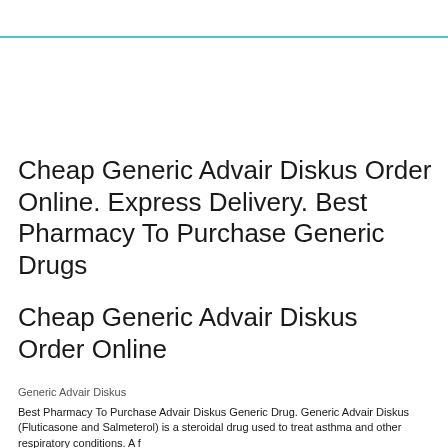Cheap Generic Advair Diskus Order Online. Express Delivery. Best Pharmacy To Purchase Generic Drugs
Cheap Generic Advair Diskus Order Online
Generic Advair Diskus
Best Pharmacy To Purchase Advair Diskus Generic Drug. Generic Advair Diskus (Fluticasone and Salmeterol) is a steroidal drug used to treat asthma and other respiratory conditions.